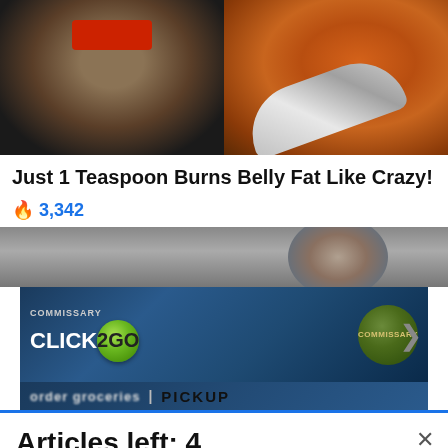[Figure (photo): Two side-by-side images: left shows a muscular person lifting their shirt to show abs with a red band/top; right shows a metal spoon with orange-brown spice powder on a dark spiced background.]
Just 1 Teaspoon Burns Belly Fat Like Crazy!
🔥 3,342
[Figure (photo): Partially visible image of an older man's head/hair, background blurred.]
[Figure (screenshot): Advertisement banner for Commissary Click2GO with green bubble logo and Commissary circular logo. Text reads: COMMISSARY CLICK2GO with order groceries | PICKUP]
Articles left: 4
Subscribe to get unlimited access Subscribe
Already have an account? Login here